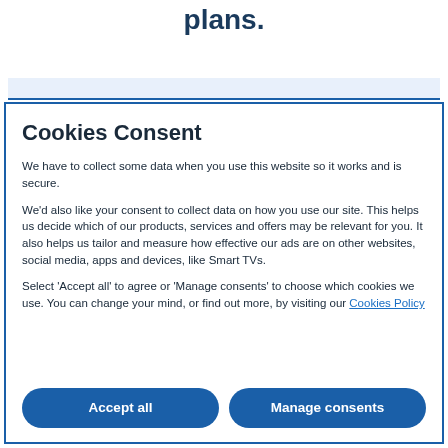plans.
Cookies Consent
We have to collect some data when you use this website so it works and is secure.
We'd also like your consent to collect data on how you use our site. This helps us decide which of our products, services and offers may be relevant for you. It also helps us tailor and measure how effective our ads are on other websites, social media, apps and devices, like Smart TVs.
Select 'Accept all' to agree or 'Manage consents' to choose which cookies we use. You can change your mind, or find out more, by visiting our Cookies Policy
Accept all
Manage consents